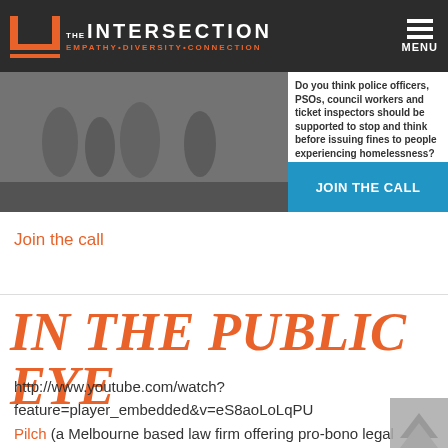THE INTERSECTION — EMPATHY•DIVERSITY•CONNECTION — MENU
[Figure (screenshot): Banner image with black and white photo of people on the left, white text block in center reading 'Do you think police officers, PSOs, council workers and ticket inspectors should be supported to stop and think before issuing fines to people experiencing homelessness?' and blue JOIN THE CALL button on the right]
Join the call
In The Public Eye
http://www.youtube.com/watch?feature=player_embedded&v=eS8aoLoLqPU Pilch (a Melbourne based law firm offering pro-bono legal services to disadvantaged) has launched a new campaign: In the Public Eye, personal stories of homelessness and